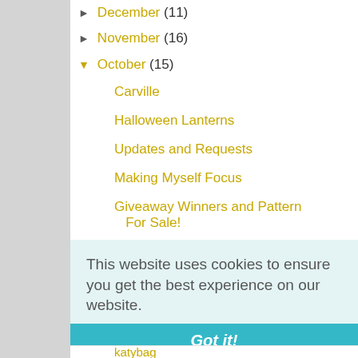► December (11)
► November (16)
▼ October (15)
Carville
Halloween Lanterns
Updates and Requests
Making Myself Focus
Giveaway Winners and Pattern For Sale!
Jam Tarts For Sale!
This website uses cookies to ensure you get the best experience on our website.
Learn more
Got it!
katybag